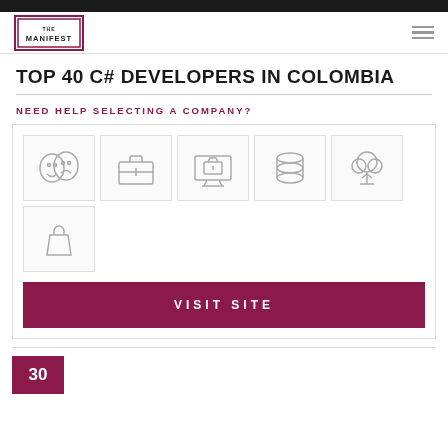[Figure (logo): The Manifest logo — square border with inner square border, text THE MANIFEST]
[Figure (illustration): Hamburger menu icon (three horizontal lines)]
TOP 40 C# DEVELOPERS IN COLOMBIA
NEED HELP SELECTING A COMPANY?
[Figure (illustration): Six industry icons in a grid: theater masks, briefcase, e-commerce monitor, stacked coins/database, tree/environment, shopping bag]
VISIT SITE
30